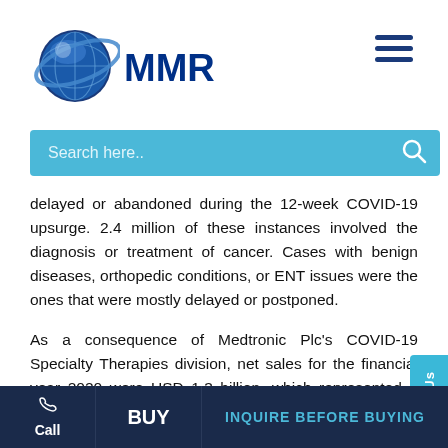MMR - Market research reports
delayed or abandoned during the 12-week COVID-19 upsurge. 2.4 million of these instances involved the diagnosis or treatment of cancer. Cases with benign diseases, orthopedic conditions, or ENT issues were the ones that were mostly delayed or postponed.
As a consequence of Medtronic Plc's COVID-19 Specialty Therapies division, net sales for the financial year 2020 were USD 1.3 billion, which represented a 9% decline from 2019. Due to COVID-19, surgeries in the ENT and pelvic health sectors were postponed, which resulted in a drop in net sales. Before the pandemic, the operative NIM nerve monitoring system, powered ENT tools, and machinery and equipment revenues of the
Call | BUY | INQUIRE BEFORE BUYING